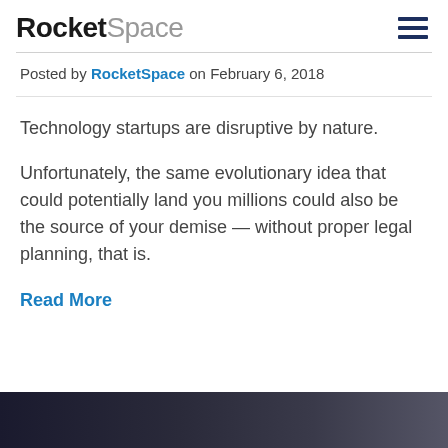RocketSpace
Posted by RocketSpace on February 6, 2018
Technology startups are disruptive by nature.
Unfortunately, the same evolutionary idea that could potentially land you millions could also be the source of your demise — without proper legal planning, that is.
Read More
[Figure (photo): Dark photograph at the bottom of the page, partially visible]